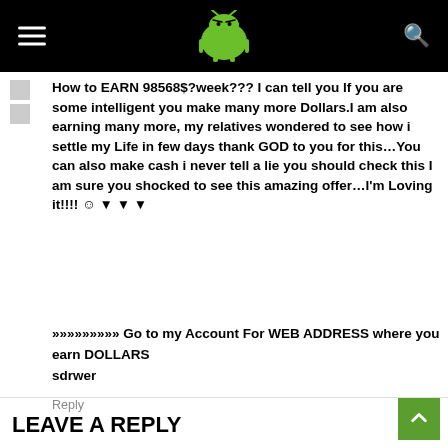Android Authority header with logo and navigation
How to EARN 98568$?week??? I can tell you If you are some intelligent you make many more Dollars.I am also earning many more, my relatives wondered to see how i settle my Life in few days thank GOD to you for this…You can also make cash i never tell a lie you should check this I am sure you shocked to see this amazing offer…I'm Loving it!!!! ☺ ▼ ▼ ▼
»»»»»»»»» Go to my Account For WEB ADDRESS where you earn DOLLARS
sdrwer
Reply
LEAVE A REPLY